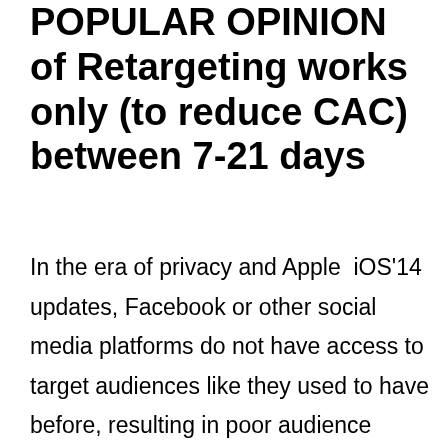POPULAR OPINION of Retargeting works only (to reduce CAC) between 7-21 days
In the era of privacy and Apple  iOS'14 updates, Facebook or other social media platforms do not have access to target audiences like they used to have before, resulting in poor audience match rates and fewer conversions.